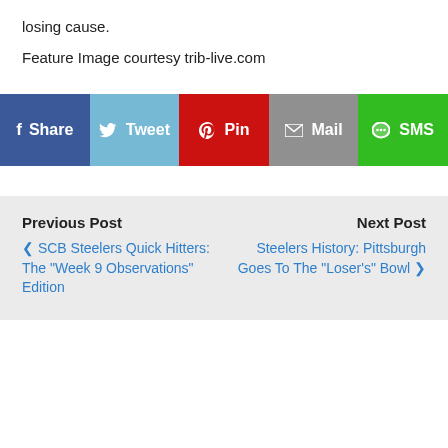losing cause.
Feature Image courtesy trib-live.com
[Figure (infographic): Social share bar with five buttons: Share (Facebook, dark blue), Tweet (Twitter, light blue), Pin (Pinterest, red), Mail (gray), SMS (green)]
Previous Post
Next Post
< SCB Steelers Quick Hitters: The "Week 9 Observations" Edition
Steelers History: Pittsburgh Goes To The "Loser's" Bowl >